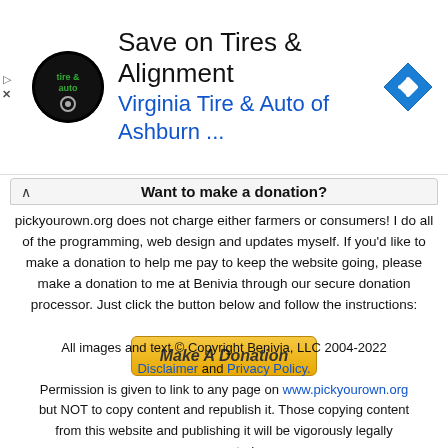[Figure (infographic): Advertisement banner: Virginia Tire & Auto of Ashburn logo (circular black badge), headline 'Save on Tires & Alignment', subline 'Virginia Tire & Auto of Ashburn ...', blue diamond arrow icon on right. Small play and X icons on far left.]
Want to make a donation?
pickyourown.org does not charge either farmers or consumers! I do all of the programming, web design and updates myself. If you'd like to make a donation to help me pay to keep the website going, please make a donation to me at Benivia through our secure donation processor. Just click the button below and follow the instructions:
[Figure (other): Yellow 'Make A Donation' button]
All images and text © Copyright Benivia, LLC 2004-2022
Disclaimer and Privacy Policy.
Permission is given to link to any page on www.pickyourown.org but NOT to copy content and republish it. Those copying content from this website and publishing it will be vigorously legally prosecuted.
Sitemap